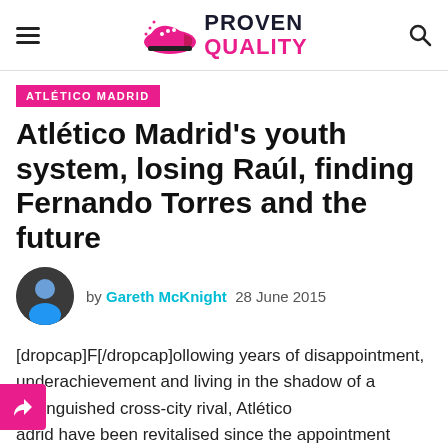PROVEN QUALITY
ATLÉTICO MADRID
Atlético Madrid's youth system, losing Raúl, finding Fernando Torres and the future
by Gareth McKnight  28 June 2015
[dropcap]F[/dropcap]ollowing years of disappointment, underachievement and living in the shadow of a distinguished cross-city rival, Atlético adrid have been revitalised since the appointment Diego Simeone in 2011.